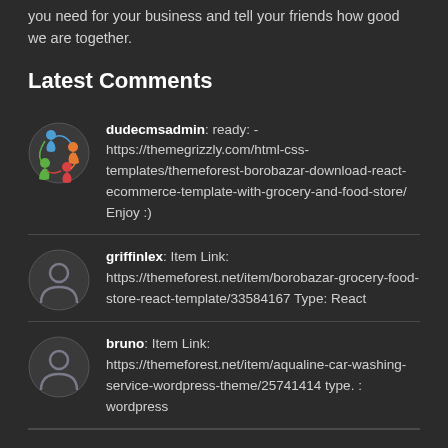you need for your business and tell your friends how good we are together.
Latest Comments
dudecmsadmin: ready: - https://themegrizzly.com/html-css-templates/themeforest-borobazar-download-react-ecommerce-template-with-grocery-and-food-store/ Enjoy :)
griffinlex: Item Link: https://themeforest.net/item/borobazar-grocery-food-store-react-template/33584167 Type: React
bruno: Item Link: https://themeforest.net/item/aqualine-car-washing-service-wordpress-theme/25741414 type. : wordpress